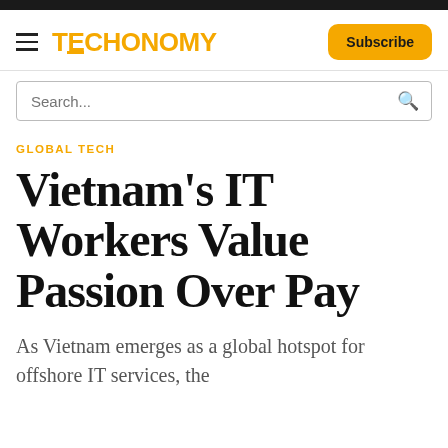TECHONOMY | Subscribe
Search...
GLOBAL TECH
Vietnam's IT Workers Value Passion Over Pay
As Vietnam emerges as a global hotspot for offshore IT services, the